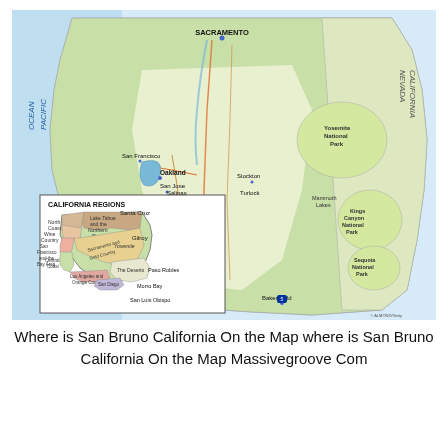[Figure (map): Map of California showing regions including Sacramento area, San Francisco Bay Area, Central Valley, Sierra Nevada, and national parks (Yosemite, Kings Canyon, Sequoia). An inset map in the lower left shows California regions labeled: North Coast, Lake Tahoe and the Northern Sierra, Wine Country, San Francisco and the Bay Area, Sacramento and Gold Country, Central Coast, The Deserts, Los Angeles and Orange County, San Diego. The Pacific Ocean label appears on the left side.]
Where is San Bruno California On the Map where is San Bruno California On the Map Massivegroove Com